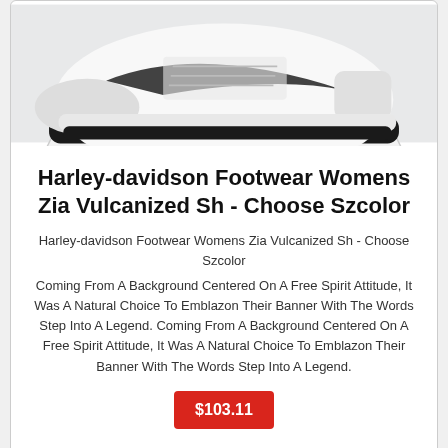[Figure (photo): Top portion of a black and white sneaker/shoe on a white background, cropped at the top]
Harley-davidson Footwear Womens Zia Vulcanized Sh - Choose Szcolor
Harley-davidson Footwear Womens Zia Vulcanized Sh - Choose Szcolor
Coming From A Background Centered On A Free Spirit Attitude, It Was A Natural Choice To Emblazon Their Banner With The Words Step Into A Legend. Coming From A Background Centered On A Free Spirit Attitude, It Was A Natural Choice To Emblazon Their Banner With The Words Step Into A Legend.
$103.11
[Figure (photo): A dark sneaker/shoe on a light wood floor background, partially visible at the bottom of the page]